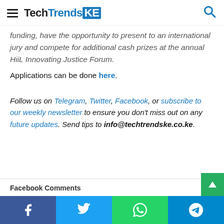TechTrendsKE
funding, have the opportunity to present to an international jury and compete for additional cash prizes at the annual HiiL Innovating Justice Forum.
Applications can be done here.
Follow us on Telegram, Twitter, Facebook, or subscribe to our weekly newsletter to ensure you don't miss out on any future updates. Send tips to info@techtrendske.co.ke.
Facebook Comments